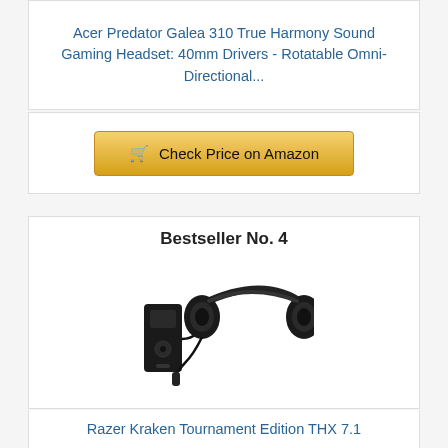[Figure (photo): Partial image of Acer Predator Galea 310 gaming headset (top portion), cropped at top of page]
Acer Predator Galea 310 True Harmony Sound Gaming Headset: 40mm Drivers - Rotatable Omni-Directional...
🛒 Check Price on Amazon
Bestseller No. 4
[Figure (photo): Razer Kraken Tournament Edition THX 7.1 gaming headset with USB audio controller dongle]
Razer Kraken Tournament Edition THX 7.1